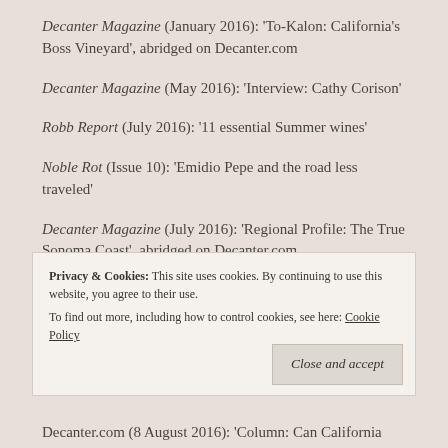Decanter Magazine (January 2016): 'To-Kalon: California's Boss Vineyard', abridged on Decanter.com
Decanter Magazine (May 2016): 'Interview: Cathy Corison'
Robb Report (July 2016): '11 essential Summer wines'
Noble Rot (Issue 10): 'Emidio Pepe and the road less traveled'
Decanter Magazine (July 2016): 'Regional Profile: The True Sonoma Coast', abridged on Decanter.com
Privacy & Cookies: This site uses cookies. By continuing to use this website, you agree to their use. To find out more, including how to control cookies, see here: Cookie Policy
Decanter.com (8 August 2016): 'Column: Can California